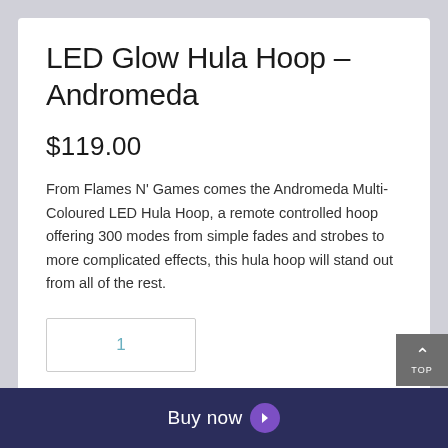LED Glow Hula Hoop – Andromeda
$119.00
From Flames N' Games comes the Andromeda Multi-Coloured LED Hula Hoop, a remote controlled hoop offering 300 modes from simple fades and strobes to more complicated effects, this hula hoop will stand out from all of the rest.
1
Buy now